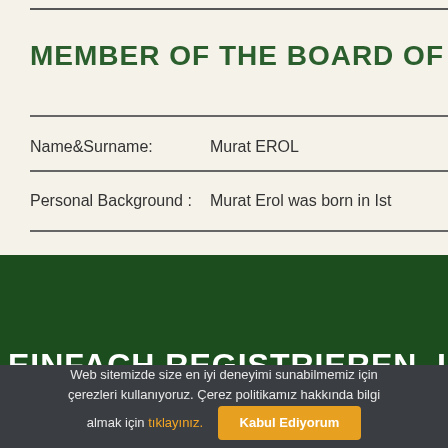MEMBER OF THE BOARD OF D
| Name&Surname: | Murat EROL |
| Personal Background : | Murat Erol was born in Ist |
[Figure (illustration): Dark green brush stroke decorative banner separating content sections]
EINFACH REGISTRIEREN. UM
Web sitemizde size en iyi deneyimi sunabilmemiz için çerezleri kullanıyoruz. Çerez politikamız hakkında bilgi almak için tıklayınız.
Kabul Ediyorum